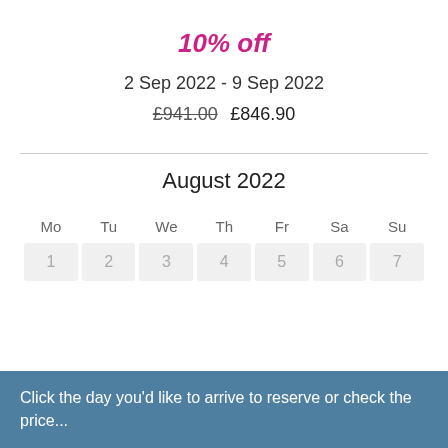10% off
2 Sep 2022 - 9 Sep 2022
£941.00 £846.90
August 2022
| Mo | Tu | We | Th | Fr | Sa | Su |
| --- | --- | --- | --- | --- | --- | --- |
| 1 | 2 | 3 | 4 | 5 | 6 | 7 |
Click the day you'd like to arrive to reserve or check the price...